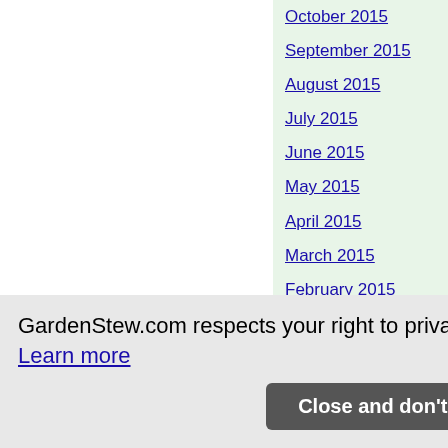October 2015
September 2015
August 2015
July 2015
June 2015
May 2015
April 2015
March 2015
February 2015
January 2015
December 2014
November 2014
October 2014
September 2014
August 2014
r 2014
June 2014
GardenStew.com respects your right to privacy
Learn more
Close and don't show again